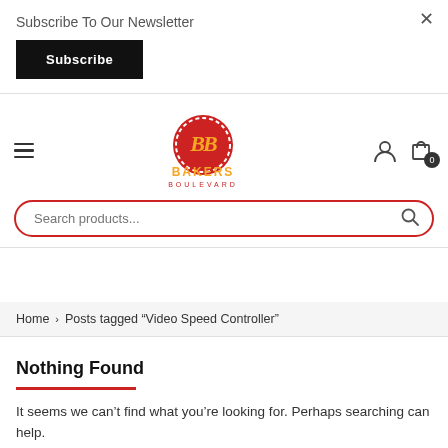Subscribe To Our Newsletter
Subscribe
[Figure (logo): Bakers Boulevard circular red logo with stylized BB initials and orange BAKERS BOULEVARD text below]
Search products...
Home > Posts tagged "Video Speed Controller"
Nothing Found
It seems we can't find what you're looking for. Perhaps searching can help.